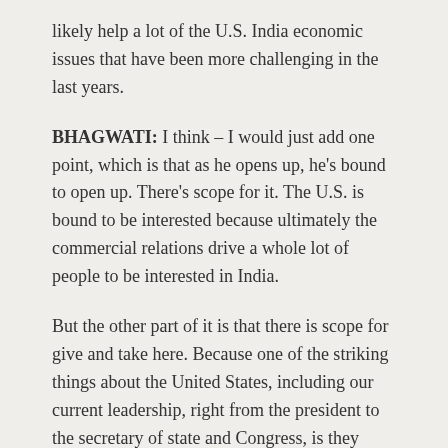likely help a lot of the U.S. India economic issues that have been more challenging in the last years.
BHAGWATI: I think – I would just add one point, which is that as he opens up, he's bound to open up. There's scope for it. The U.S. is bound to be interested because ultimately the commercial relations drive a whole lot of people to be interested in India.
But the other part of it is that there is scope for give and take here. Because one of the striking things about the United States, including our current leadership, right from the president to the secretary of state and Congress, is they continuously talk about outsourcing is a big problem. And outsourcing